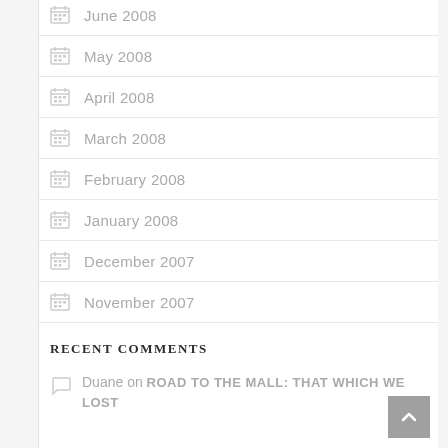June 2008
May 2008
April 2008
March 2008
February 2008
January 2008
December 2007
November 2007
RECENT COMMENTS
Duane on ROAD TO THE MALL: THAT WHICH WE LOST